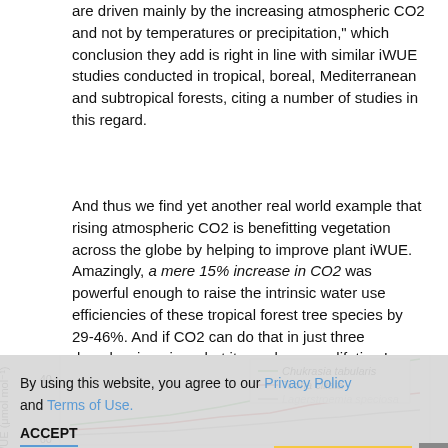are driven mainly by the increasing atmospheric CO2 and not by temperatures or precipitation," which conclusion they add is right in line with similar iWUE studies conducted in tropical, boreal, Mediterranean and subtropical forests, citing a number of studies in this regard.
And thus we find yet another real world example that rising atmospheric CO2 is benefitting vegetation across the globe by helping to improve plant iWUE. Amazingly, a mere 15% increase in CO2 was powerful enough to raise the intrinsic water use efficiencies of these tropical forest tree species by 29-46%. And if CO2 can do that in just three decades, imagine what it can do over a lifetime!
[Figure (line-chart): Line chart showing iWUE (μmol mol⁻¹) over time from 1985 to 2015 for three tree species: Chukrasia tabularis (green), Toona ciliata (red), Lagerstroemia speciosa (gray). Y-axis shows values around 40 to 60+.]
By using this website, you agree to our Privacy Policy and Terms of Use.
ACCEPT
Leave a Comment